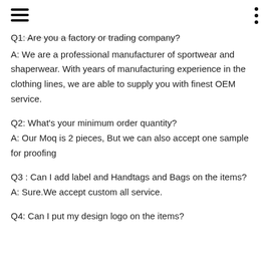Q1: Are you a factory or trading company?
A: We are a professional manufacturer of sportwear and shaperwear. With years of manufacturing experience in the clothing lines, we are able to supply you with finest OEM service.
Q2: What's your minimum order quantity?
A: Our Moq is 2 pieces, But we can also accept one sample for proofing
Q3 : Can I add label and Handtags and Bags on the items?
A: Sure.We accept custom all service.
Q4: Can I put my design logo on the items?